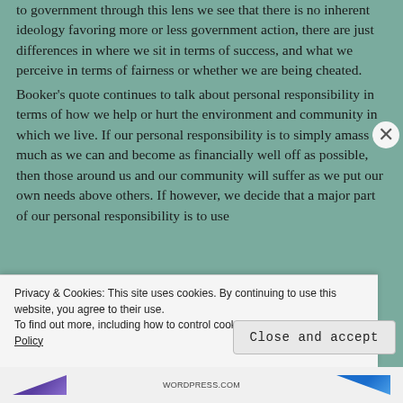to government through this lens we see that there is no inherent ideology favoring more or less government action, there are just differences in where we sit in terms of success, and what we perceive in terms of fairness or whether we are being cheated.
Booker's quote continues to talk about personal responsibility in terms of how we help or hurt the environment and community in which we live. If our personal responsibility is to simply amass as much as we can and become as financially well off as possible, then those around us and our community will suffer as we put our own needs above others. If however, we decide that a major part of our personal responsibility is to use
Privacy & Cookies: This site uses cookies. By continuing to use this website, you agree to their use.
To find out more, including how to control cookies, see here: Cookie Policy
Close and accept